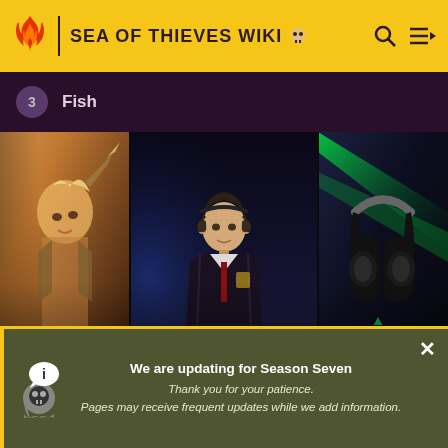SEA OF THIEVES WIKI
3 Fish
[Figure (screenshot): Three-panel image banner showing a fantasy game character on the left, a person in Hogwarts robes in the center, and gaming headphones on the right, with caption 'Play This | PC Gaming in 2022']
Play This | PC Gaming in 2022
We are updating for Season Seven
Thank you for your patience.
Pages may receive frequent updates while we add information.